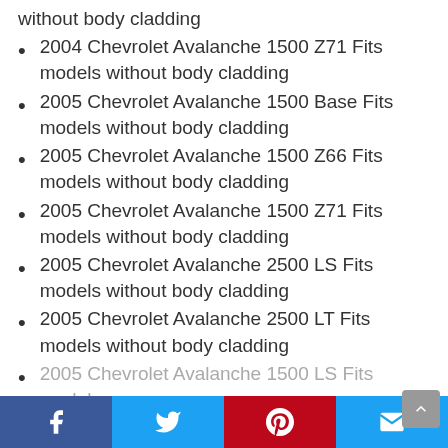without body cladding
2004 Chevrolet Avalanche 1500 Z71 Fits models without body cladding
2005 Chevrolet Avalanche 1500 Base Fits models without body cladding
2005 Chevrolet Avalanche 1500 Z66 Fits models without body cladding
2005 Chevrolet Avalanche 1500 Z71 Fits models without body cladding
2005 Chevrolet Avalanche 2500 LS Fits models without body cladding
2005 Chevrolet Avalanche 2500 LT Fits models without body cladding
2005 Chevrolet Avalanche 1500 LS Fits models